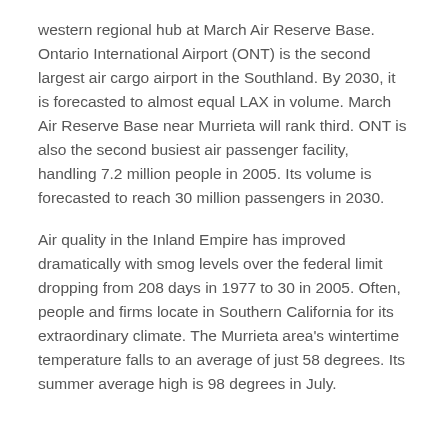western regional hub at March Air Reserve Base. Ontario International Airport (ONT) is the second largest air cargo airport in the Southland. By 2030, it is forecasted to almost equal LAX in volume. March Air Reserve Base near Murrieta will rank third. ONT is also the second busiest air passenger facility, handling 7.2 million people in 2005. Its volume is forecasted to reach 30 million passengers in 2030.
Air quality in the Inland Empire has improved dramatically with smog levels over the federal limit dropping from 208 days in 1977 to 30 in 2005. Often, people and firms locate in Southern California for its extraordinary climate. The Murrieta area's wintertime temperature falls to an average of just 58 degrees. Its summer average high is 98 degrees in July.